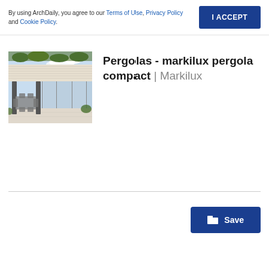By using ArchDaily, you agree to our Terms of Use, Privacy Policy and Cookie Policy.
I ACCEPT
[Figure (photo): A modern pergola/awning structure over an outdoor patio area with dining furniture, glass walls visible in background, green plants on roof, light grey retractable shade.]
Pergolas - markilux pergola compact | Markilux
Save